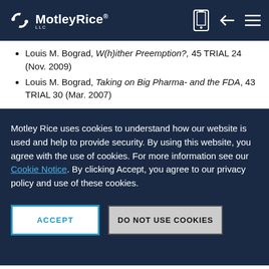MotleyRice LLC
Louis M. Bograd, W(h)ither Preemption?, 45 TRIAL 24 (Nov. 2009)
Louis M. Bograd, Taking on Big Pharma- and the FDA, 43 TRIAL 30 (Mar. 2007)
Motley Rice uses cookies to understand how our website is used and help to provide security. By using this website, you agree with the use of cookies. For more information see our Cookie Notice. By clicking Accept, you agree to our privacy policy and use of these cookies.
ACCEPT
DO NOT USE COOKIES